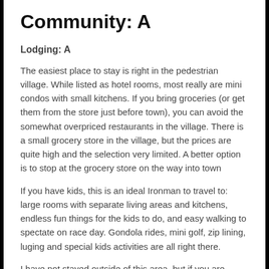Community: A
Lodging: A
The easiest place to stay is right in the pedestrian village. While listed as hotel rooms, most really are mini condos with small kitchens. If you bring groceries (or get them from the store just before town), you can avoid the somewhat overpriced restaurants in the village. There is a small grocery store in the village, but the prices are quite high and the selection very limited. A better option is to stop at the grocery store on the way into town
If you have kids, this is an ideal Ironman to travel to: large rooms with separate living areas and kitchens, endless fun things for the kids to do, and easy walking to spectate on race day. Gondola rides, mini golf, zip lining, luging and special kids activities are all right there.
I have not stayed outside of this area, but if you are looking for a cheaper option, there are many condos that are walking